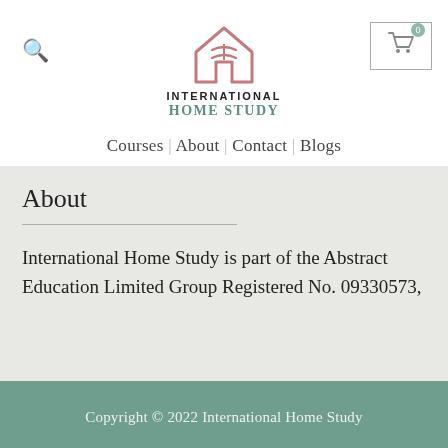[Figure (logo): International Home Study logo — a house/book outline in rose/pink, with text INTERNATIONAL HOME STUDY below]
Courses | About | Contact | Blogs
About
International Home Study is part of the Abstract Education Limited Group Registered No. 09330573,
Copyright © 2022 International Home Study